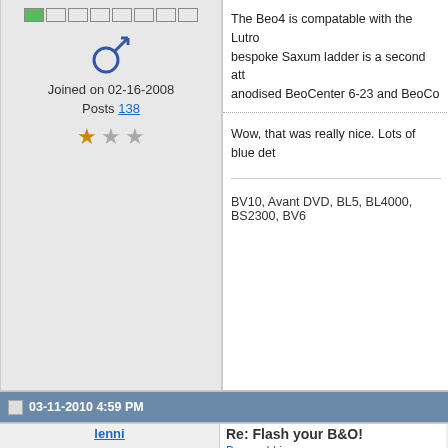[Figure (infographic): Progress bar with one green cell and seven empty cells]
[Figure (illustration): Male gender symbol in blue]
Joined on 02-16-2008
Posts 138
[Figure (infographic): Star rating: 1 filled star, 2 empty stars]
The Beo4 is compatable with the Lutro... bespoke Saxum ladder is a second att... anodised BeoCenter 6-23 and BeoCo...
Wow, that was really nice. Lots of blue det...
BV10, Avant DVD, BL5, BL4000, BS2300, BV6...
03-11-2010 4:59 PM
lenni
Re: Flash your B&O!
Beoworld.jpg
[Figure (photo): Thumbnail photo of a B&O device]